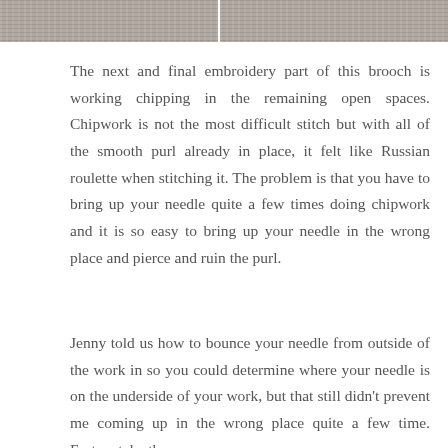[Figure (photo): Two side-by-side embroidery/textile detail photographs at the top of the page, showing textured fabric work.]
The next and final embroidery part of this brooch is working chipping in the remaining open spaces. Chipwork is not the most difficult stitch but with all of the smooth purl already in place, it felt like Russian roulette when stitching it. The problem is that you have to bring up your needle quite a few times doing chipwork and it is so easy to bring up your needle in the wrong place and pierce and ruin the purl.
Jenny told us how to bounce your needle from outside of the work in so you could determine where your needle is on the underside of your work, but that still didn't prevent me coming up in the wrong place quite a few time. Fortunately, the